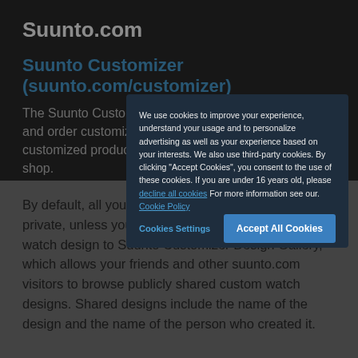Suunto.com
Suunto Customizer (suunto.com/customizer)
The Suunto Customizer allows customers to design and order customized products. Purchasing a customized product happens via the suunto.com web shop.
We use cookies to improve your experience, understand your usage and to personalize advertising as well as your experience based on your interests. We also use third-party cookies. By clicking "Accept Cookies", you consent to the use of these cookies. If you are under 16 years old, please decline all cookies For more information see our. Cookie Policy
Cookies Settings
Accept All Cookies
By default, all your Suunto Customizer data is private, unless you decide to share your customized watch design to Suunto Customizer Design Gallery, which allows your friends and other suunto.com visitors to browse publicly shared custom watch designs. Shared designs include the name of the design and the name of the person who created it.